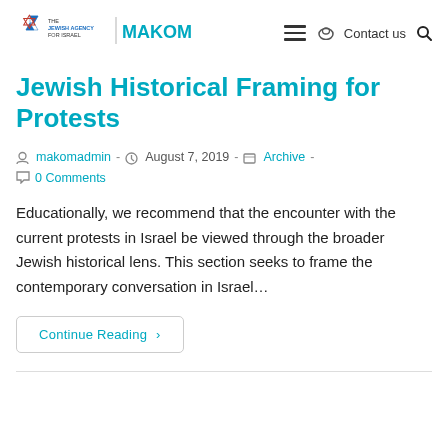The Jewish Agency for Israel | MAKOM — Contact us [search]
Jewish Historical Framing for Protests
makomadmin · August 7, 2019 · Archive · 0 Comments
Educationally, we recommend that the encounter with the current protests in Israel be viewed through the broader Jewish historical lens. This section seeks to frame the contemporary conversation in Israel…
Continue Reading ›